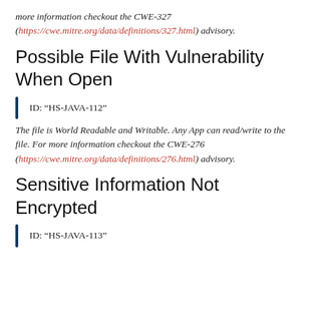more information checkout the CWE-327 (https://cwe.mitre.org/data/definitions/327.html) advisory.
Possible File With Vulnerability When Open
ID: “HS-JAVA-112”
The file is World Readable and Writable. Any App can read/write to the file. For more information checkout the CWE-276 (https://cwe.mitre.org/data/definitions/276.html) advisory.
Sensitive Information Not Encrypted
ID: “HS-JAVA-113”